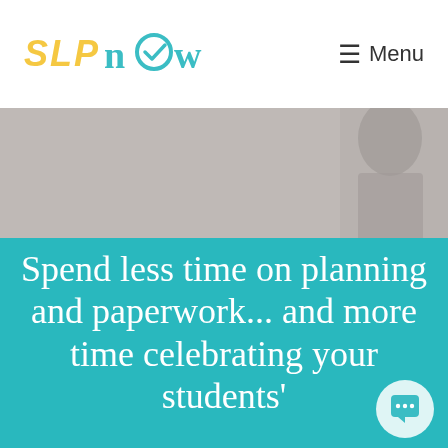SLP Now — Menu
[Figure (photo): Grey/neutral background photo of a person, partially visible, upper right corner]
Spend less time on planning and paperwork... and more time celebrating your students'